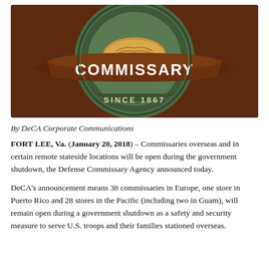[Figure (logo): DeCA Commissary logo — brown shield/badge with green circular background, bread/wheat imagery, brown ribbon banner reading 'COMMISSARY' in white letters, and text 'SINCE 1867' at the bottom.]
By DeCA Corporate Communications
FORT LEE, Va. (January 20, 2018) – Commissaries overseas and in certain remote stateside locations will be open during the government shutdown, the Defense Commissary Agency announced today.
DeCA's announcement means 38 commissaries in Europe, one store in Puerto Rico and 28 stores in the Pacific (including two in Guam), will remain open during a government shutdown as a safety and security measure to serve U.S. troops and their families stationed overseas.